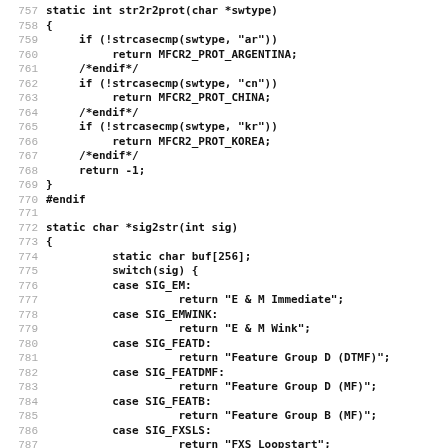[Figure (screenshot): Source code listing in C, lines 757-788, showing functions str2r2prot and sig2str with switch/case statements for signal type string conversion.]